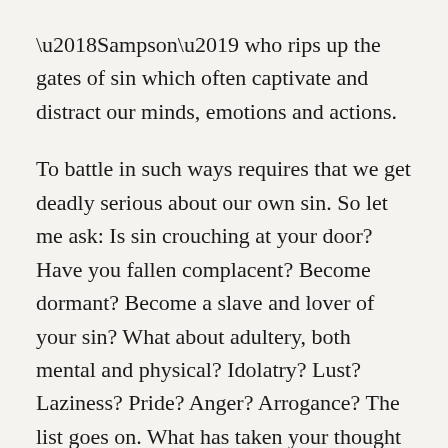‘Sampson’ who rips up the gates of sin which often captivate and distract our minds, emotions and actions.
To battle in such ways requires that we get deadly serious about our own sin. So let me ask: Is sin crouching at your door? Have you fallen complacent? Become dormant? Become a slave and lover of your sin? What about adultery, both mental and physical? Idolatry? Lust? Laziness? Pride? Anger? Arrogance? The list goes on. What has taken your thought life captive? Possessions? Sports? Entertainment(s)? Self-gratification of sorts? Or how about sins of omission and commission? In all of